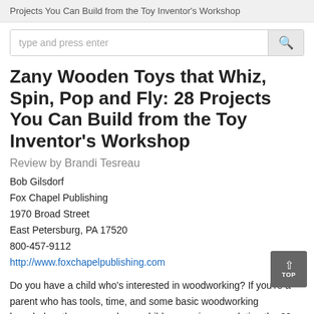Projects You Can Build from the Toy Inventor's Workshop
Zany Wooden Toys that Whiz, Spin, Pop and Fly: 28 Projects You Can Build from the Toy Inventor's Workshop
Review by Brandi Tesreau
Bob Gilsdorf
Fox Chapel Publishing
1970 Broad Street
East Petersburg, PA 17520
800-457-9112
http://www.foxchapelpublishing.com
Do you have a child who's interested in woodworking? If you're a parent who has tools, time, and some basic woodworking knowledge, then you and your child may enjoy completing the 28 projects found in Zany Wooden Toys that Whiz, Spin, Pop and Fly by Bob Gilsdorf.